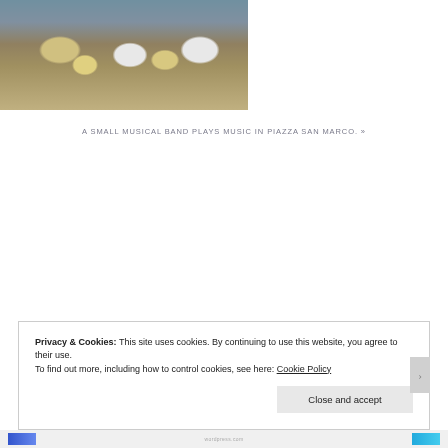[Figure (photo): An outdoor cafe with yellow chairs and white tablecloths at Piazza San Marco, Venice. People visible in the background near classic architecture.]
A small musical band plays music in Piazza San Marco. »
Privacy & Cookies: This site uses cookies. By continuing to use this website, you agree to their use.
To find out more, including how to control cookies, see here: Cookie Policy
Close and accept